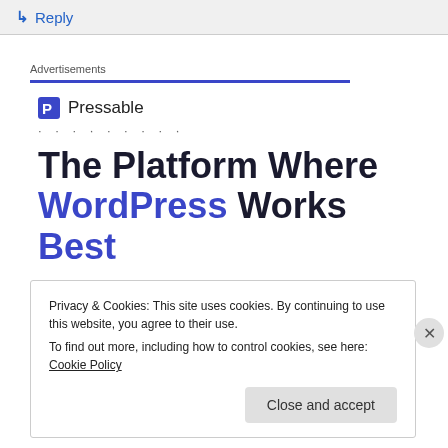↵ Reply
Advertisements
[Figure (logo): Pressable logo with 'P' icon and brand name 'Pressable']
· · · · · · · · ·
The Platform Where WordPress Works Best
Privacy & Cookies: This site uses cookies. By continuing to use this website, you agree to their use.
To find out more, including how to control cookies, see here: Cookie Policy
Close and accept